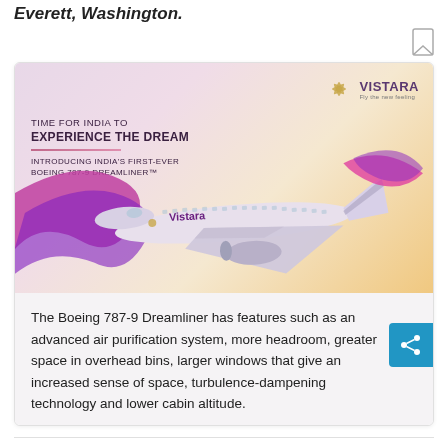Everett, Washington.
[Figure (photo): Vistara airline advertisement showing a Boeing 787-9 Dreamliner aircraft in flight against a pink/purple dramatic sky background, with Vistara logo top right and text reading 'TIME FOR INDIA TO EXPERIENCE THE DREAM — INTRODUCING INDIA'S FIRST-EVER BOEING 787-9 DREAMLINER™']
The Boeing 787-9 Dreamliner has features such as an advanced air purification system, more headroom, greater space in overhead bins, larger windows that give an increased sense of space, turbulence-dampening technology and lower cabin altitude.